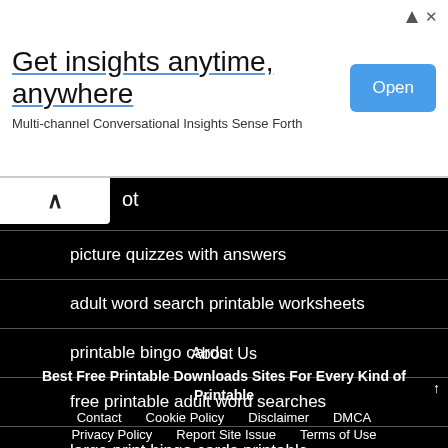[Figure (screenshot): Advertisement banner: 'Get insights anytime, anywhere' with subtitle 'Multi-channel Conversational Insights Sense Forth' and a blue 'Open' button]
ot
picture quizzes with answers
adult word search printable worksheets
printable bingo cards
free printable adult word searches
large print bingo cards printable
About Us
Best Free Printable Downloads Sites For Every Kind of Printable
Contact   Cookie Policy   Disclaimer   DMCA   Privacy Policy   Report Site Issue   Terms of Use